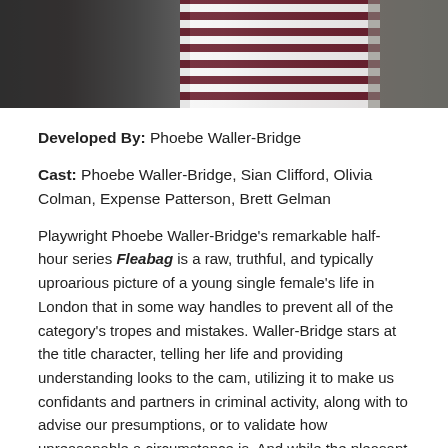[Figure (photo): Partial photo showing three people, one wearing a black and dark red striped shirt in the middle, cropped at the top of the page.]
Developed By: Phoebe Waller-Bridge
Cast: Phoebe Waller-Bridge, Sian Clifford, Olivia Colman, Expense Patterson, Brett Gelman
Playwright Phoebe Waller-Bridge's remarkable half-hour series Fleabag is a raw, truthful, and typically uproarious picture of a young single female's life in London that in some way handles to prevent all of the category's tropes and mistakes. Waller-Bridge stars at the title character, telling her life and providing understanding looks to the cam, utilizing it to make us confidants and partners in criminal activity, along with to advise our presumptions, or to validate how unreasonable a circumstance is. And while the pleasant and relatable Fleabag likes explaining other's faults, she's not constantly simple on herself, either. Coping contemporary dating (where there's a lot of humor to be discovered), she's likewise haunted,